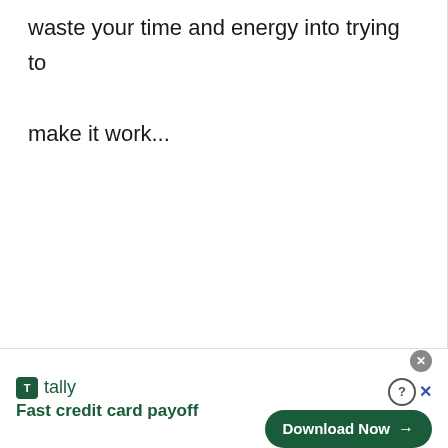waste your time and energy into trying to make it work...
[Figure (other): Tally app advertisement banner: logo with 'tally' brand name, tagline 'Fast credit card payoff', and a 'Download Now' button with arrow, plus close/help controls]